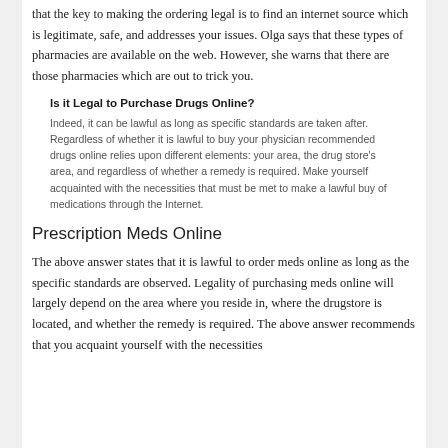that the key to making the ordering legal is to find an internet source which is legitimate, safe, and addresses your issues. Olga says that these types of pharmacies are available on the web. However, she warns that there are those pharmacies which are out to trick you.
Is it Legal to Purchase Drugs Online?
Indeed, it can be lawful as long as specific standards are taken after. Regardless of whether it is lawful to buy your physician recommended drugs online relies upon different elements: your area, the drug store's area, and regardless of whether a remedy is required. Make yourself acquainted with the necessities that must be met to make a lawful buy of medications through the Internet.
Prescription Meds Online
The above answer states that it is lawful to order meds online as long as the specific standards are observed. Legality of purchasing meds online will largely depend on the area where you reside in, where the drugstore is located, and whether the remedy is required. The above answer recommends that you acquaint yourself with the necessities